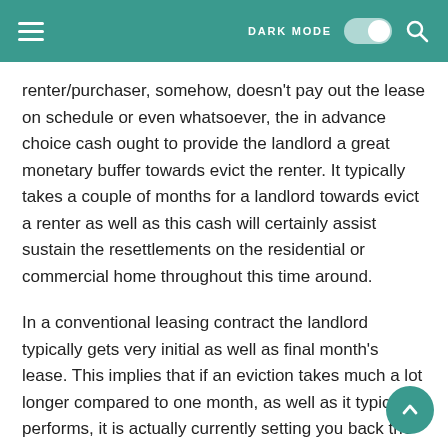DARK MODE [toggle] [search]
renter/purchaser, somehow, doesn't pay out the lease on schedule or even whatsoever, the in advance choice cash ought to provide the landlord a great monetary buffer towards evict the renter. It typically takes a couple of months for a landlord towards evict a renter as well as this cash will certainly assist sustain the resettlements on the residential or commercial home throughout this time around.
In a conventional leasing contract the landlord typically gets very initial as well as final month's lease. This implies that if an eviction takes much a lot longer compared to one month, as well as it typically performs, it is actually currently setting you back the landlord cash towards stay up to date with the sets you back of having the house.